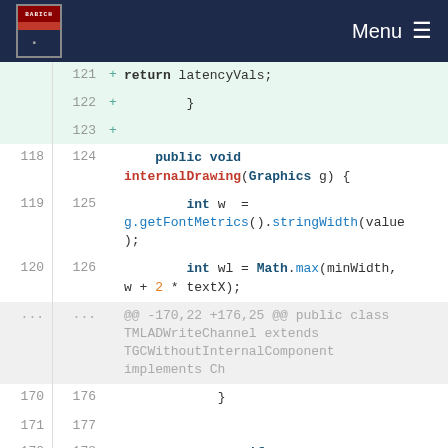Menu
[Figure (screenshot): Code diff view showing Java source code with line numbers, added lines (green background with + marker) and removed lines (red background with - marker). Code includes methods: return latencyVals, closing braces, public void internalDrawing(Graphics g), int w = g.getFontMetrics().stringWidth(value), int wl = Math.max(minWidth, w + 2 * textX), a diff hunk header, closing braces, if (getCheckLatency()), String[] latency, and a partial line with mtdo.getMCUI().getLatencyVals(getDID]